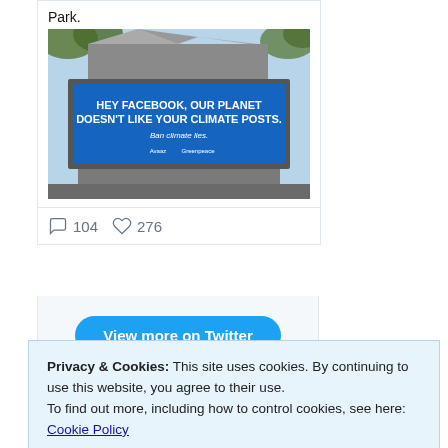Park.
[Figure (photo): Billboard on a building reading 'HEY FACEBOOK, OUR PLANET DOESN'T LIKE YOUR CLIMATE POSTS. Ban climate lies.']
104  276
View more on Twitter
Learn more about privacy on
Privacy & Cookies: This site uses cookies. By continuing to use this website, you agree to their use.
To find out more, including how to control cookies, see here: Cookie Policy
Close and accept